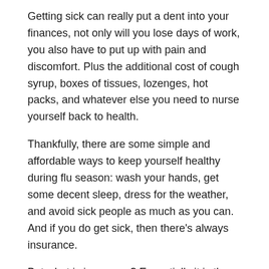Getting sick can really put a dent into your finances, not only will you lose days of work, you also have to put up with pain and discomfort. Plus the additional cost of cough syrup, boxes of tissues, lozenges, hot packs, and whatever else you need to nurse yourself back to health.
Thankfully, there are some simple and affordable ways to keep yourself healthy during flu season: wash your hands, get some decent sleep, dress for the weather, and avoid sick people as much as you can. And if you do get sick, then there's always insurance.
But what is insurance? Essentially it is the transfer of risk from one person or entity to another in exchange for money—a premium. So you pay for it, and the insurance provider will cover some or all of your medical costs for specific health services like dental, chiropractic, and vision. You pay a